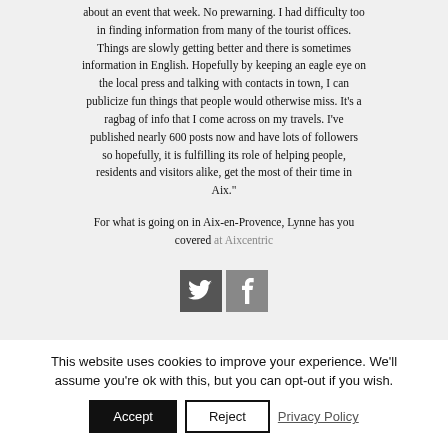about an event that week. No prewarning. I had difficulty too in finding information from many of the tourist offices. Things are slowly getting better and there is sometimes information in English. Hopefully by keeping an eagle eye on the local press and talking with contacts in town, I can publicize fun things that people would otherwise miss. It's a ragbag of info that I come across on my travels. I've published nearly 600 posts now and have lots of followers so hopefully, it is fulfilling its role of helping people, residents and visitors alike, get the most of their time in Aix."
For what is going on in Aix-en-Provence, Lynne has you covered at Aixcentric
[Figure (other): Twitter and Facebook social media icons side by side]
This website uses cookies to improve your experience. We'll assume you're ok with this, but you can opt-out if you wish.
Accept | Reject | Privacy Policy